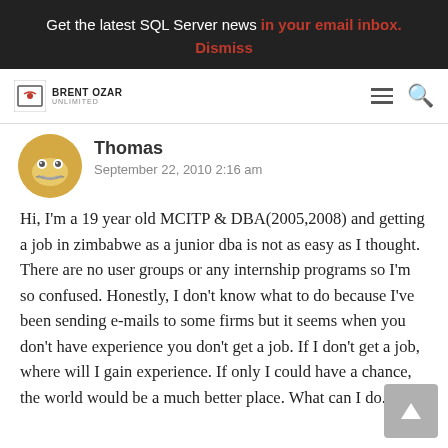Get the latest SQL Server news in your email inbox. Dismiss
[Figure (logo): Brent Ozar Unlimited logo with navigation icons (hamburger menu and search)]
Thomas
September 22, 2010 2:16 am
Hi, I'm a 19 year old MCITP & DBA(2005,2008) and getting a job in zimbabwe as a junior dba is not as easy as I thought. There are no user groups or any internship programs so I'm so confused. Honestly, I don't know what to do because I've been sending e-mails to some firms but it seems when you don't have experience you don't get a job. If I don't get a job, where will I gain experience. If only I could have a chance, the world would be a much better place. What can I do.